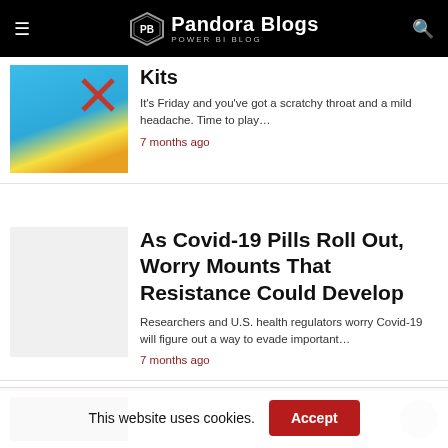Pandora Blogs — POWER BI BLOG
[Figure (photo): Partial article thumbnail showing colorful graphic with blue background and red X mark (home test kits image)]
Kits
It's Friday and you've got a scratchy throat and a mild headache. Time to play…
7 months ago
[Figure (photo): Light gray placeholder thumbnail for Covid-19 pills article]
As Covid-19 Pills Roll Out, Worry Mounts That Resistance Could Develop
Researchers and U.S. health regulators worry Covid-19 will figure out a way to evade important…
7 months ago
[Figure (photo): Partially visible dark thumbnail at bottom of page]
This website uses cookies.